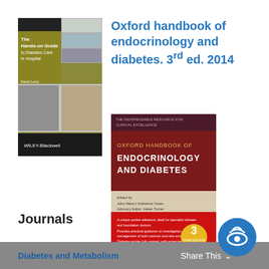[Figure (illustration): Book cover: The Hands-on Guide to Diabetes Care in Hospital by Wiley-Blackwell]
Oxford handbook of endocrinology and diabetes. 3rd ed. 2014
[Figure (illustration): Book cover: Oxford Handbook of Endocrinology and Diabetes, 3rd edition]
Journals
Diabetes and Metabolism
Share This